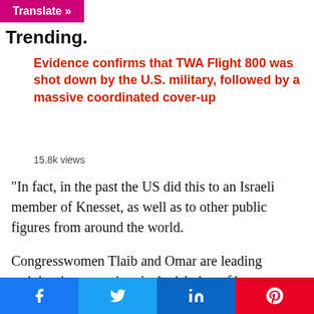Translate »
Trending.
Evidence confirms that TWA Flight 800 was shot down by the U.S. military, followed by a massive coordinated cover-up
15.8k views
“In fact, in the past the US did this to an Israeli member of Knesset, as well as to other public figures from around the world.
Congresswomen Tlaib and Omar are leading activists in promoting the legislation of boycotts against Israel in the American Congress.”
“Or how f and ...
Share buttons: Facebook, Twitter, LinkedIn, Pinterest